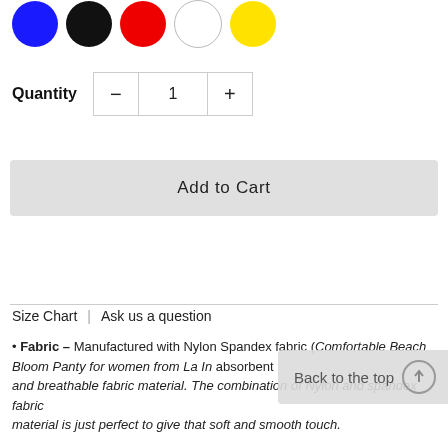[Figure (illustration): Five color swatches (circles): blue, black, red, white, yellow]
Quantity  -  1  +
Add to Cart
Size Chart  |  Ask us a question
Fabric – Manufactured with Nylon Spandex fabric (... Comfortable Beach Bloom Panty for women from La In... absorbent and breathable fabric material. The combination of Nylon and spandex fabric material is just perfect to give that soft and smooth touch.